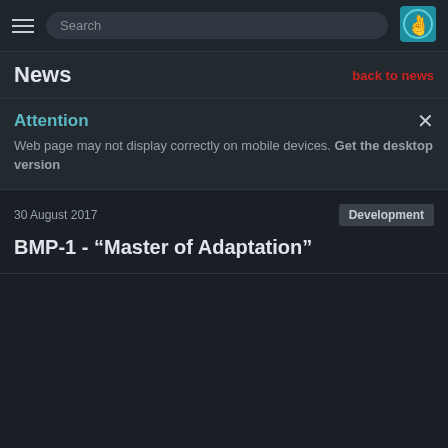Search
News | back to news
Attention
Web page may not display correctly on mobile devices. Get the desktop version
30 August 2017
Development
BMP-1 - “Master of Adaptation”